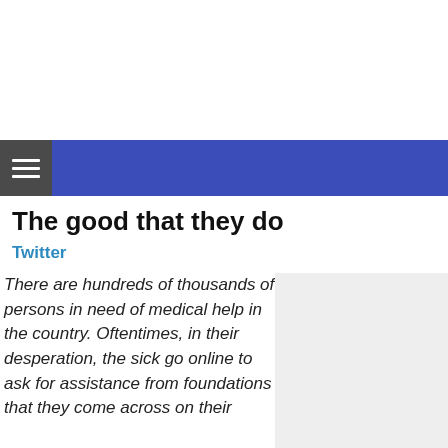The good that they do
Twitter
There are hundreds of thousands of persons in need of medical help in the country. Oftentimes, in their desperation, the sick go online to ask for assistance from foundations that they come across on their
[Figure (other): Gray placeholder image area on the right side of the text column]